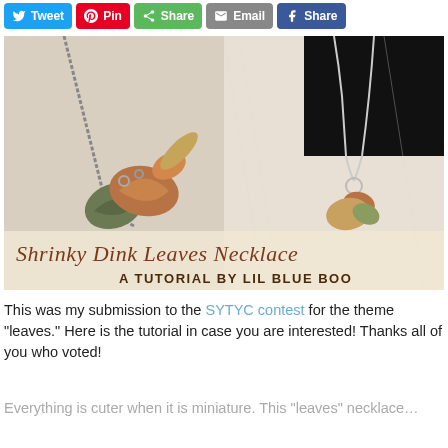[Figure (screenshot): Social sharing buttons: Tweet (Twitter/blue), Pin (Pinterest/red), Share (green), Email (grey), Share (Facebook/blue)]
[Figure (photo): Photo of a Shrinky Dink Leaves Necklace — two product photos side by side showing autumn leaf charms on a chain. Text overlay reads 'Shrinky Dink Leaves Necklace' and 'A TUTORIAL BY LIL BLUE BOO'.]
This was my submission to the SYTYC contest for the theme "leaves." Here is the tutorial in case you are interested! Thanks all of you who voted!
Everything is cuter when it is miniature. This "leaves" necklace…